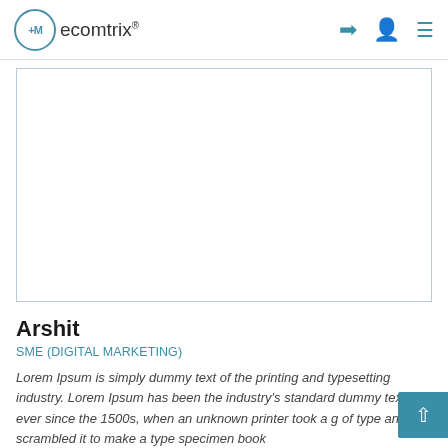ecomtrix
[Figure (other): Empty white rectangular image placeholder with a light blue-grey border]
Arshit
SME (DIGITAL MARKETING)
Lorem Ipsum is simply dummy text of the printing and typesetting industry. Lorem Ipsum has been the industry's standard dummy text ever since the 1500s, when an unknown printer took a g of type and scrambled it to make a type specimen book